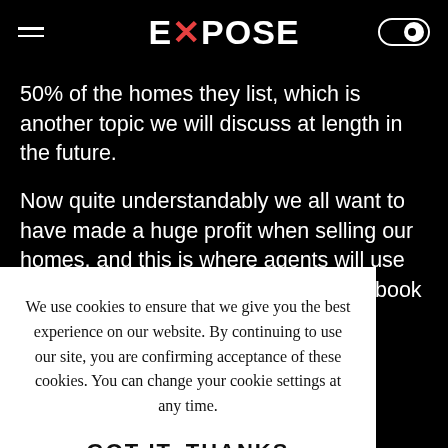EXPOSE
50% of the homes they list, which is another topic we will discuss at length in the future.
Now quite understandably we all want to have made a huge profit when selling our homes, and this is where agents will use the oldest seduction technique in the book to sign you up – overvaluing, so it's important to ... used by ... ation market you r sale price.
We use cookies to ensure that we give you the best experience on our website. By continuing to use our site, you are confirming acceptance of these cookies. You can change your cookie settings at any time.

GOT IT, THANKS